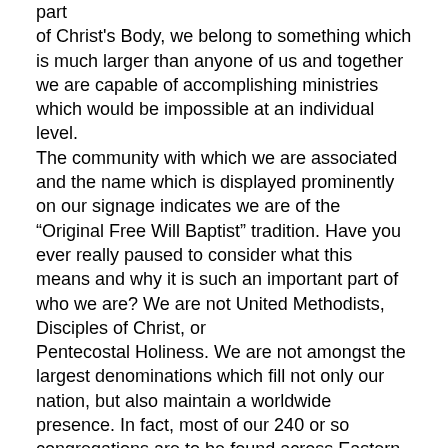part of Christ's Body, we belong to something which is much larger than anyone of us and together we are capable of accomplishing ministries which would be impossible at an individual level. The community with which we are associated and the name which is displayed prominently on our signage indicates we are of the “Original Free Will Baptist” tradition. Have you ever really paused to consider what this means and why it is such an important part of who we are? We are not United Methodists, Disciples of Christ, or Pentecostal Holiness. We are not amongst the largest denominations which fill not only our nation, but also maintain a worldwide presence. In fact, most of our 240 or so congregations are to be found across Eastern